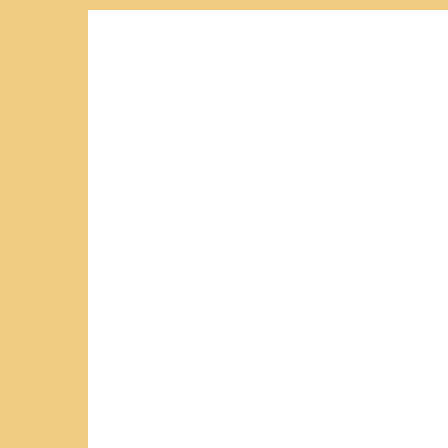No c
Post
To lea
SIGN
Subscr
Per